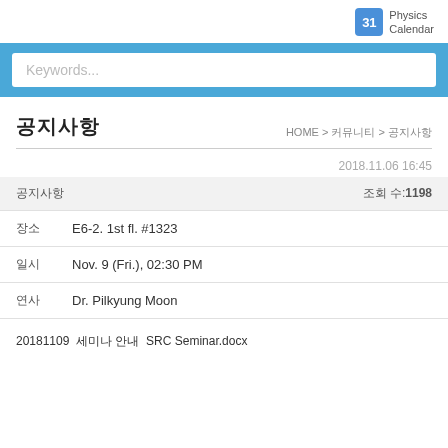[Figure (logo): Physics Calendar icon with calendar showing 31 and text 'Physics Calendar']
Keywords...
공지사항
HOME > 커뮤니티 > 공지사항
2018.11.06 16:45
공지사항   조회 수:1198
| 장소 | E6-2. 1st fl. #1323 |
| 일시 | Nov. 9 (Fri.), 02:30 PM |
| 연사 | Dr. Pilkyung Moon |
20181109 SRC 세미나 안내 SRC Seminar.docx